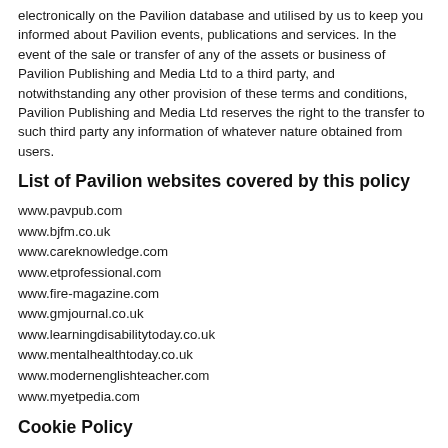electronically on the Pavilion database and utilised by us to keep you informed about Pavilion events, publications and services. In the event of the sale or transfer of any of the assets or business of Pavilion Publishing and Media Ltd to a third party, and notwithstanding any other provision of these terms and conditions, Pavilion Publishing and Media Ltd reserves the right to the transfer to such third party any information of whatever nature obtained from users.
List of Pavilion websites covered by this policy
www.pavpub.com
www.bjfm.co.uk
www.careknowledge.com
www.etprofessional.com
www.fire-magazine.com
www.gmjournal.co.uk
www.learningdisabilitytoday.co.uk
www.mentalhealthtoday.co.uk
www.modernenglishteacher.com
www.myetpedia.com
Cookie Policy
For more information about our cookie policy, please visit this page.